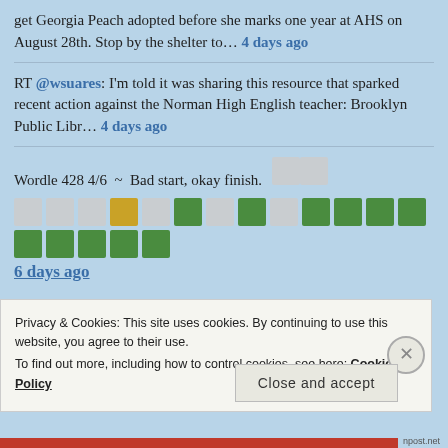get Georgia Peach adopted before she marks one year at AHS on August 28th. Stop by the shelter to... 4 days ago
RT @wsuares: I'm told it was sharing this resource that sparked recent action against the Norman High English teacher: Brooklyn Public Libr... 4 days ago
Wordle 428 4/6 ~ Bad start, okay finish. [Wordle grid squares] 6 days ago
Privacy & Cookies: This site uses cookies. By continuing to use this website, you agree to their use.
To find out more, including how to control cookies, see here:
Cookie Policy
Close and accept